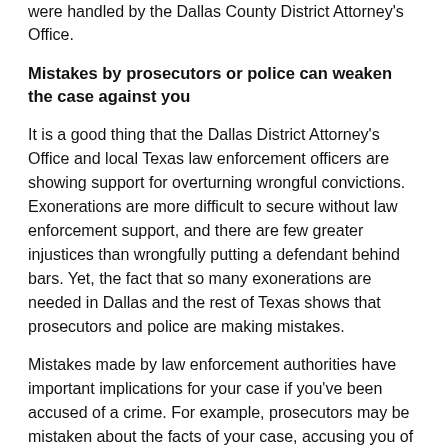were handled by the Dallas County District Attorney's Office.
Mistakes by prosecutors or police can weaken the case against you
It is a good thing that the Dallas District Attorney's Office and local Texas law enforcement officers are showing support for overturning wrongful convictions. Exonerations are more difficult to secure without law enforcement support, and there are few greater injustices than wrongfully putting a defendant behind bars. Yet, the fact that so many exonerations are needed in Dallas and the rest of Texas shows that prosecutors and police are making mistakes.
Mistakes made by law enforcement authorities have important implications for your case if you've been accused of a crime. For example, prosecutors may be mistaken about the facts of your case, accusing you of wrongful conduct that you did not engage in. Or, police may mistakenly violate your rights in gathering evidence; when this happens, such tainted evidence should be thrown out in court.